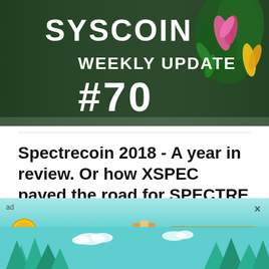[Figure (illustration): Syscoin Weekly Update #70 banner image with dark green background, large white text reading SYSCOIN WEEKLY UPDATE #70, with colorful tropical flowers on the right side]
Spectrecoin 2018 - A year in review. Or how XSPEC paved the road for SPECTRE
4 minute read   Joker   $1.12
No doubt, 2018 has been a rocky year, not just for Spectrecoin but for Cryptocurrency in general. Bitcoin itself has seen a major price decline yet the
[Figure (illustration): Tamadoge advertisement banner with teal/cyan sky background, trees silhouette, Tamadoge logo coin, cartoon dog character, text reading 'Tamadoge 100k Giveaway' and an orange 'ENTER NOW' button. Ad label in top-left corner, X close button in top-right.]